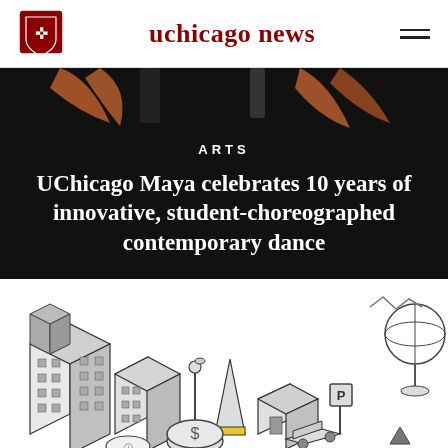uchicago news
[Figure (illustration): Top portion of hero image showing dancer silhouettes with orange/warm-toned arms against dark background]
ARTS
UChicago Maya celebrates 10 years of innovative, student-choreographed contemporary dance
[Figure (illustration): Isometric city illustration with buildings, a car, a dollar sign coin, a parking sign, a cone with yellow stripe, and various urban elements in black and white line art style]